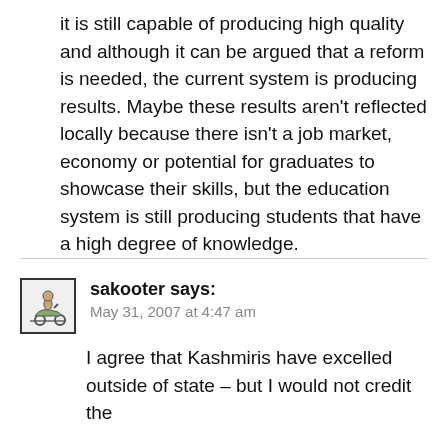it is still capable of producing high quality and although it can be argued that a reform is needed, the current system is producing results. Maybe these results aren't reflected locally because there isn't a job market, economy or potential for graduates to showcase their skills, but the education system is still producing students that have a high degree of knowledge.
sakooter says: May 31, 2007 at 4:47 am
I agree that Kashmiris have excelled outside of state – but I would not credit the